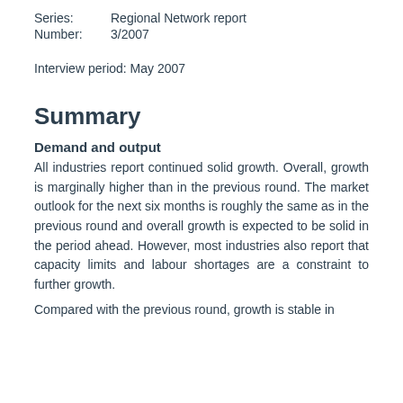Series: Regional Network report
Number: 3/2007
Interview period: May 2007
Summary
Demand and output
All industries report continued solid growth. Overall, growth is marginally higher than in the previous round. The market outlook for the next six months is roughly the same as in the previous round and overall growth is expected to be solid in the period ahead. However, most industries also report that capacity limits and labour shortages are a constraint to further growth.
Compared with the previous round, growth is stable in